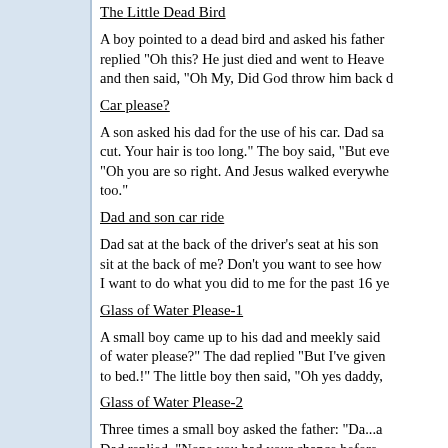The Little Dead Bird
A boy pointed to a dead bird and asked his father replied "Oh this? He just died and went to Heave and then said, "Oh My, Did God throw him back d
Car please?
A son asked his dad for the use of his car. Dad sa cut. Your hair is too long." The boy said, "But eve "Oh you are so right. And Jesus walked everywhe too."
Dad and son car ride
Dad sat at the back of the driver's seat at his son sit at the back of me? Don't you want to see how I want to do what you did to me for the past 16 ye
Glass of Water Please-1
A small boy came up to his dad and meekly said of water please?" The dad replied "But I've given to bed.!" The little boy then said, "Oh yes daddy,
Glass of Water Please-2
Three times a small boy asked the father: "Da...a Dad replied, "Nope you had your chance before